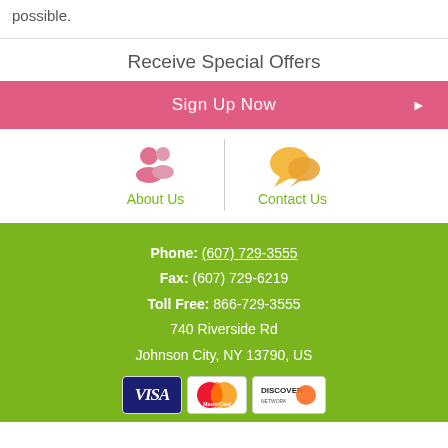possible.
Receive Special Offers
Sign Up Now ▶
About Us
Contact Us
Phone: (607) 729-3555
Fax: (607) 729-6219
Toll Free: 866-729-3555
740 Riverside Rd
Johnson City, NY 13790, US
[Figure (other): Payment method icons: Visa, MasterCard, Discover]